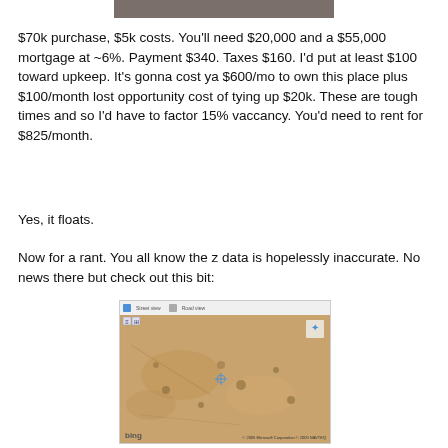[Figure (other): Dark gray/brown horizontal bar at top of page, partially visible]
$70k purchase, $5k costs. You'll need $20,000 and a $55,000 mortgage at ~6%. Payment $340. Taxes $160. I'd put at least $100 toward upkeep. It's gonna cost ya $600/mo to own this place plus $100/month lost opportunity cost of tying up $20k. These are tough times and so I'd have to factor 15% vaccancy. You'd need to rent for $825/month.
Yes, it floats.
Now for a rant. You all know the z data is hopelessly inaccurate. No news there but check out this bit:
[Figure (screenshot): Bing Maps aerial/satellite screenshot showing a desert or sandy terrain with sparse vegetation, with navigation controls and compass visible]